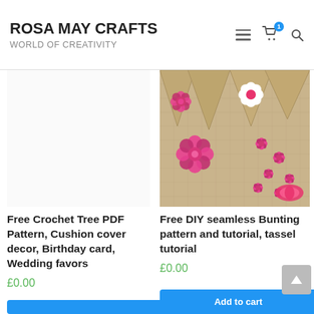ROSA MAY CRAFTS – WORLD OF CREATIVITY
[Figure (photo): Photo of burlap bunting triangles with pink fabric flower decorations, small pink button flowers, and a pink ribbon spool on a burlap background]
Free Crochet Tree PDF Pattern, Cushion cover decor, Birthday card, Wedding favors
£0.00
Free DIY seamless Bunting pattern and tutorial, tassel tutorial
£0.00